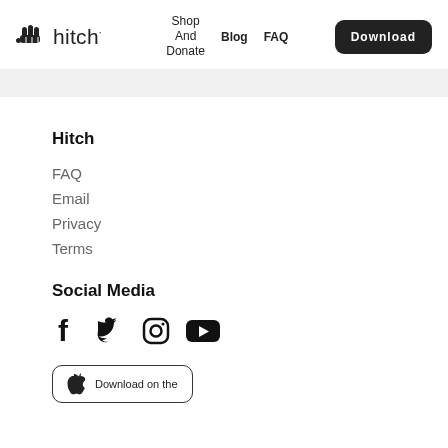hitch · Shop And Donate · Blog · FAQ · Download
Hitch
FAQ
Email
Privacy
Terms
Social Media
[Figure (other): Social media icons: Facebook, Twitter, Instagram, YouTube]
[Figure (other): Download on the App Store button]